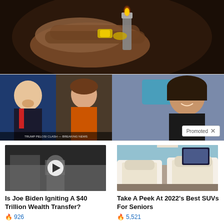[Figure (photo): Close-up of a hand holding a lighter and a small gold object, dark background]
[Figure (photo): Side-by-side collage of Donald Trump and Nancy Pelosi]
[Figure (photo): Woman (Kamala Harris) smiling, purple/blue background, with Promoted badge overlay]
[Figure (photo): Black and white video thumbnail of person, with play button overlay]
Is Joe Biden Igniting A $40 Trillion Wealth Transfer?
🔥 926
[Figure (photo): Luxury car interior with beige leather seats]
Take A Peek At 2022's Best SUVs For Seniors
🔥 5,521